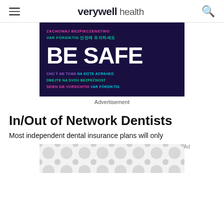verywell health
[Figure (infographic): Dark navy background 'BE SAFE' infographic with multilingual safety phrases in pink, green, purple, cyan. Top: 'ZACHOWAJ BEZPIECZENSTWO' (pink), 'VAR FORSIKTIG' (green), Korean text (green). Center large white text: 'BE SAFE'. Bottom: 'CHU Y AN TOAN' (purple), 'NA EISTE ASFALEΙΣ' (cyan), 'DBEJTE NA SVOU BEZPECNOST' (green), 'SEIEN SIE VORSICHTIG VAR FÖRSIKTIG' (pink and cyan).]
Advertisement
In/Out of Network Dentists
Most independent dental insurance plans will only
[Figure (other): Bottom advertisement placeholder with circular pattern background]